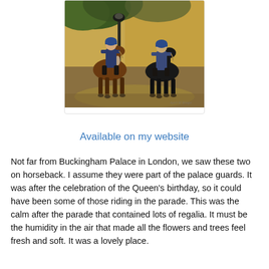[Figure (illustration): A painting of two mounted police officers on horseback, wearing blue uniforms and helmets, riding along a path near a stone wall with a lamp post and green trees. Painted in watercolor style.]
Protectors Watercolor 24" X 12"
by April M Rimpo
Available on my website
Not far from Buckingham Palace in London, we saw these two on horseback. I assume they were part of the palace guards. It was after the celebration of the Queen's birthday, so it could have been some of those riding in the parade. This was the calm after the parade that contained lots of regalia. It must be the humidity in the air that made all the flowers and trees feel fresh and soft. It was a lovely place.